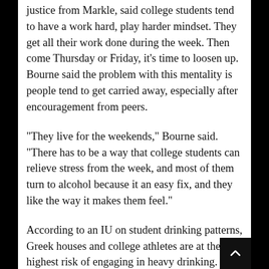justice from Markle, said college students tend to have a work hard, play harder mindset. They get all their work done during the week. Then come Thursday or Friday, it's time to loosen up. Bourne said the problem with this mentality is people tend to get carried away, especially after encouragement from peers.
“They live for the weekends,” Bourne said. “There has to be a way that college students can relieve stress from the week, and most of them turn to alcohol because it an easy fix, and they like the way it makes them feel.”
According to an IU on student drinking patterns, Greek houses and college athletes are at the highest risk of engaging in heavy drinking. The department found that as athletic participation increases, so does alcohol consumption among